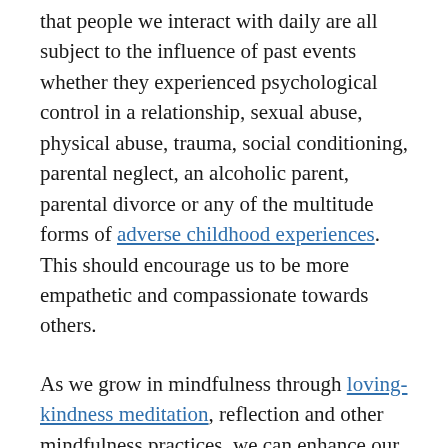that people we interact with daily are all subject to the influence of past events whether they experienced psychological control in a relationship, sexual abuse, physical abuse, trauma, social conditioning, parental neglect, an alcoholic parent, parental divorce or any of the multitude forms of adverse childhood experiences.  This should encourage us to be more empathetic and compassionate towards others.
As we grow in mindfulness through loving-kindness meditation, reflection and other mindfulness practices, we can enhance our sensitivity and compassion, develop insight into mental illness and its behavioural